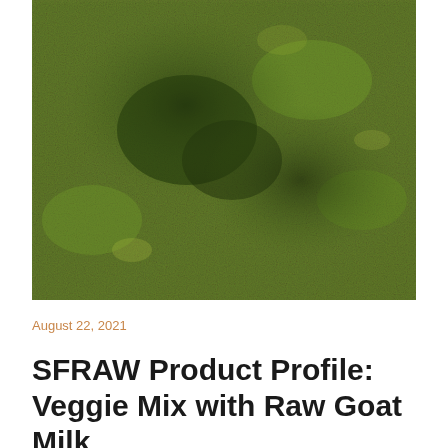[Figure (photo): Close-up macro photograph of dried green vegetable matter / veggie mix, showing textured dark and bright green leafy crumbled material]
August 22, 2021
SFRAW Product Profile: Veggie Mix with Raw Goat Milk